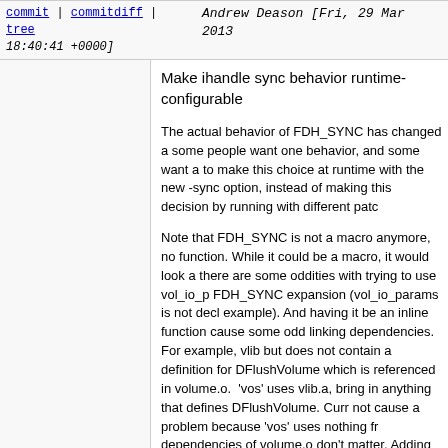commit | commitdiff | tree   Andrew Deason [Fri, 29 Mar 2013 18:40:41 +0000]
Make ihandle sync behavior runtime-configurable
The actual behavior of FDH_SYNC has changed a some people want one behavior, and some want a to make this choice at runtime with the new -sync option, instead of making this decision by running with different patc
Note that FDH_SYNC is not a macro anymore, no function. While it could be a macro, it would look a there are some oddities with trying to use vol_io_p FDH_SYNC expansion (vol_io_params is not decl example). And having it be an inline function cause some odd linking dependencies. For example, vlib but does not contain a definition for DFlushVolume which is referenced in volume.o.  'vos' uses vlib.a, bring in anything that defines DFlushVolume. Curr not cause a problem because 'vos' uses nothing fr dependencies of volume.o don't matter. Adding am platforms that don't support 'static inline' would ado volume.o (via vol_io_params), which causes an er DFlushVolume.
Those are possibly just some problems, and may make it so we don't have to deal with that and just